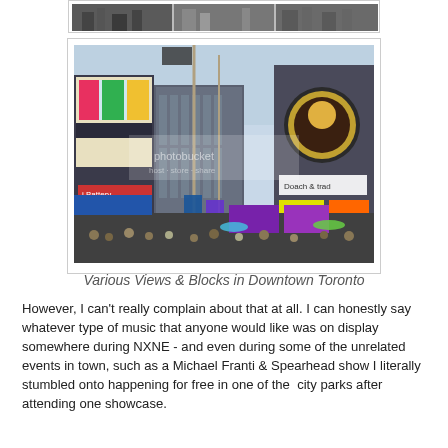[Figure (photo): Top strip of photos showing buildings/street scenes in downtown Toronto]
[Figure (photo): Street-level view of busy downtown Toronto intersection with colorful billboards, buildings, flags, and crowds]
Various Views & Blocks in Downtown Toronto
However, I can't really complain about that at all. I can honestly say whatever type of music that anyone would like was on display somewhere during NXNE - and even during some of the unrelated events in town, such as a Michael Franti & Spearhead show I literally stumbled onto happening for free in one of the  city parks after attending one showcase.